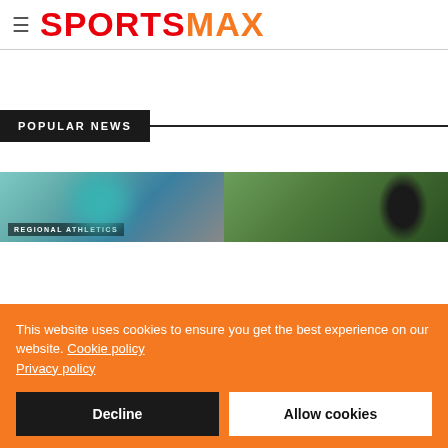SPORTSMAX
POPULAR NEWS
[Figure (photo): Two sports news thumbnail images side by side. Left shows a blurred athlete in teal/aqua colors with REGIONAL ATHLETICS tag. Right shows a person with braided hair against green background.]
This website uses cookies to ensure you get the best experience on our website. Cookie policy Privacy policy
Decline
Allow cookies